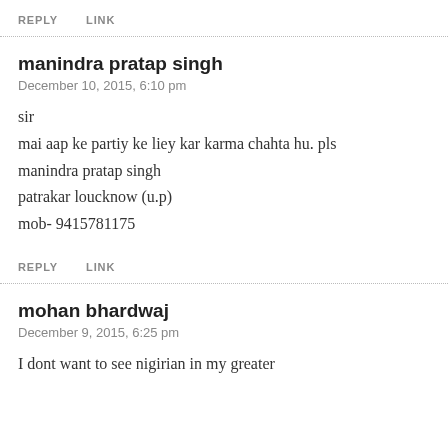REPLY   LINK
manindra pratap singh
December 10, 2015, 6:10 pm
sir
mai aap ke partiy ke liey kar karma chahta hu. pls
manindra pratap singh
patrakar loucknow (u.p)
mob- 9415781175
REPLY   LINK
mohan bhardwaj
December 9, 2015, 6:25 pm
I dont want to see nigirian in my greater